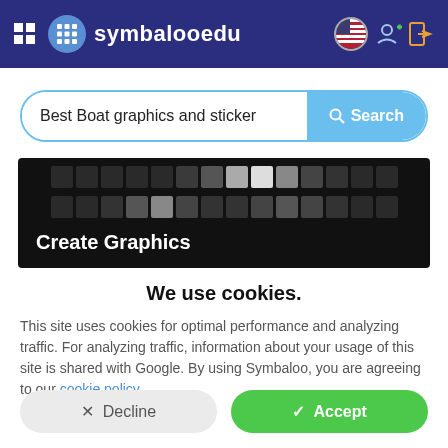symbalooedu
[Figure (screenshot): Search bar with text 'Best Boat graphics and sticker' and a blue Search button]
[Figure (screenshot): Dark banner showing a grid of dark squares/tiles with 'Create Graphics' text overlay in white]
We use cookies.
This site uses cookies for optimal performance and analyzing traffic. For analyzing traffic, information about your usage of this site is shared with Google. By using Symbaloo, you are agreeing to our cookie policy.
Decline  Accept